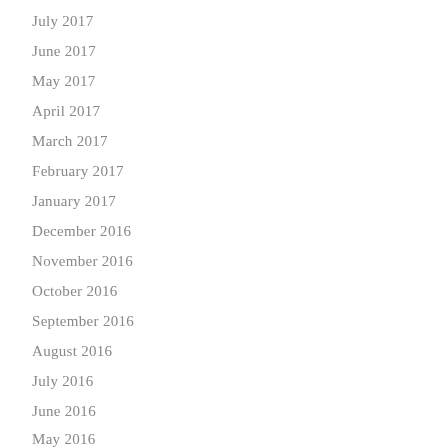July 2017
June 2017
May 2017
April 2017
March 2017
February 2017
January 2017
December 2016
November 2016
October 2016
September 2016
August 2016
July 2016
June 2016
May 2016